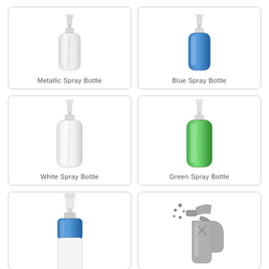[Figure (illustration): Metallic spray bottle icon, clear/glass appearance with spray pump top]
Metallic Spray Bottle
[Figure (illustration): Blue spray bottle icon with white spray pump top]
Blue Spray Bottle
[Figure (illustration): White/clear spray bottle with white spray pump top]
White Spray Bottle
[Figure (illustration): Green spray bottle with white spray pump top]
Green Spray Bottle
[Figure (illustration): Blue and white spray bottle, tall with pump top, partially visible]
[Figure (illustration): Gray trigger spray bottle icon with spray droplets coming from nozzle]